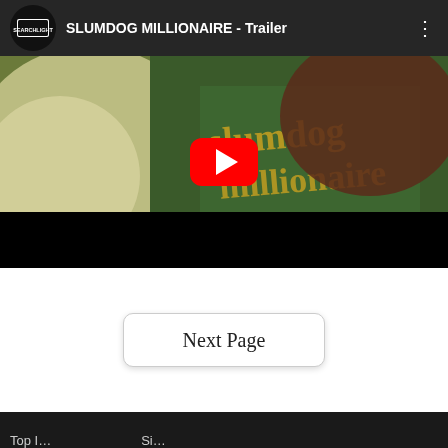[Figure (screenshot): YouTube video player thumbnail showing 'SLUMDOG MILLIONAIRE - Trailer' with a Searchlight Pictures channel logo, a video thumbnail of a person wearing a green Slumdog Millionaire shirt, and a red YouTube play button in the center.]
Next Page
Top I… Si…